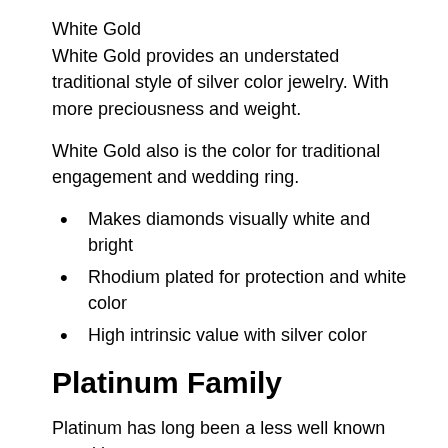White Gold
White Gold provides an understated traditional style of silver color jewelry. With more preciousness and weight.
White Gold also is the color for traditional engagement and wedding ring.
Makes diamonds visually white and bright
Rhodium plated for protection and white color
High intrinsic value with silver color
Platinum Family
Platinum has long been a less well known metal in